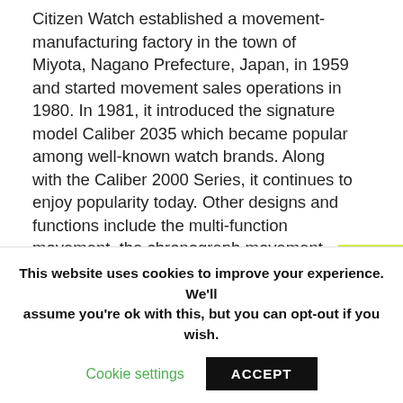Citizen Watch established a movement-manufacturing factory in the town of Miyota, Nagano Prefecture, Japan, in 1959 and started movement sales operations in 1980. In 1981, it introduced the signature model Caliber 2035 which became popular among well-known watch brands. Along with the Caliber 2000 Series, it continues to enjoy popularity today. Other designs and functions include the multi-function movement, the chronograph movement, slim-type movements, and mechanical movements. The slim mechanical movement Caliber 9000 series debuted in 200[x] to supplement the long-seller Caliber 8200 Series mechanical movements.
Miyota's ongoing R&D supports development of new...
This website uses cookies to improve your experience. We'll assume you're ok with this, but you can opt-out if you wish.
Cookie settings  ACCEPT